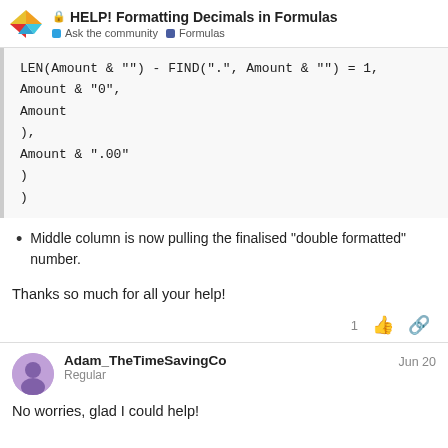HELP! Formatting Decimals in Formulas | Ask the community | Formulas
Middle column is now pulling the finalised “double formatted” number.
Thanks so much for all your help!
Adam_TheTimeSavingCo
Regular
Jun 20
No worries, glad I could help!